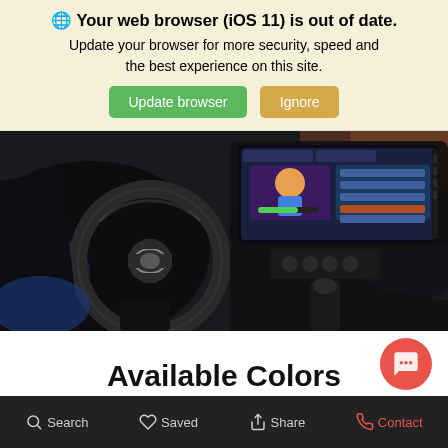🌐 Your web browser (iOS 11) is out of date. Update your browser for more security, speed and the best experience on this site.
Update browser | Ignore
[Figure (photo): Toyota car interior showing steering wheel, dashboard, and infotainment screen]
Available Colors
Search  Saved  Share  Contact